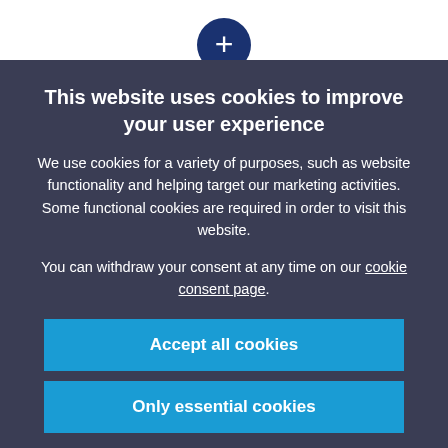[Figure (screenshot): Top navigation bar with white background and a dark blue circle button with a plus sign (+) centered at the top]
Contact Information (background, partially visible)
Monique Mols
Head of Media Relations
+31 652 844 418
Brittney Wolff Zatezalo
Corporate communications manager US
+14084833207
This website uses cookies to improve your user experience
We use cookies for a variety of purposes, such as website functionality and helping target our marketing activities. Some functional cookies are required in order to visit this website.
You can withdraw your consent at any time on our cookie consent page.
Accept all cookies
Only essential cookies
Manage cookie settings